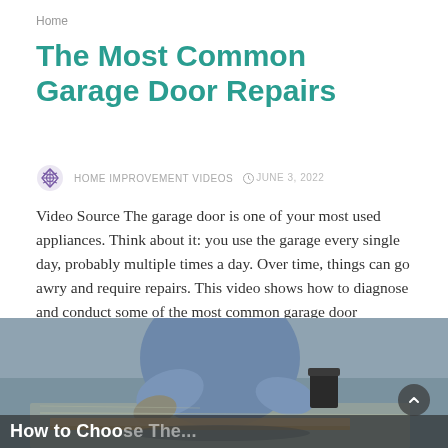Home
The Most Common Garage Door Repairs
HOME IMPROVEMENT VIDEOS   JUNE 3, 2022
Video Source The garage door is one of your most used appliances. Think about it: you use the garage every single day, probably multiple times a day. Over time, things can go awry and require repairs. This video shows how to diagnose and conduct some of the most common garage door repairs....
READ MORE
[Figure (photo): Worker/person doing construction or masonry work, partially visible, at the bottom of the page. A dark overlay text caption is partially visible at the bottom: 'How to Choose The...']